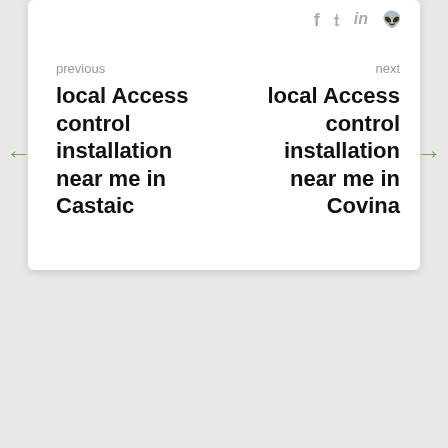[Figure (other): Social media icons: Facebook, Twitter, LinkedIn, Reddit]
previous
local Access control installation near me in Castaic
next
local Access control installation near me in Covina